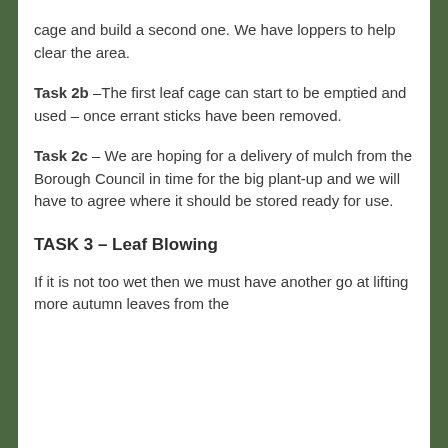cage and build a second one. We have loppers to help clear the area.
Task 2b – The first leaf cage can start to be emptied and used – once errant sticks have been removed.
Task 2c – We are hoping for a delivery of mulch from the Borough Council in time for the big plant-up and we will have to agree where it should be stored ready for use.
TASK 3 – Leaf Blowing
If it is not too wet then we must have another go at lifting more autumn leaves from the